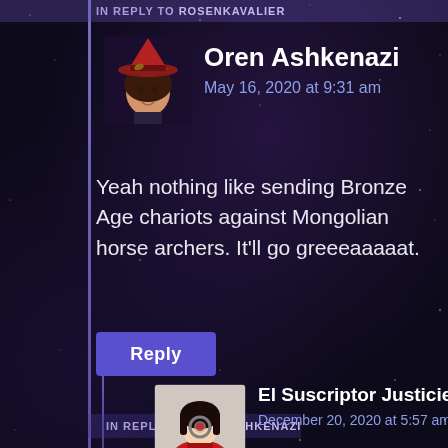IN REPLY TO ROSENKAVALIER
Oren Ashkenazi
May 16, 2020 at 9:31 am
Yeah nothing like sending Bronze Age chariots against Mongolian horse archers. It’ll go greeeaaaaat.
Reply
IN REPLY TO OREN ASHKENAZI
El Suscriptor Justiciero
December 20, 2020 at 5:57 am